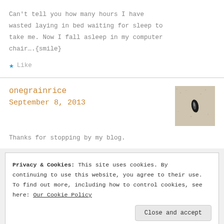Can't tell you how many hours I have wasted laying in bed waiting for sleep to take me. Now I fall asleep in my computer chair….{smile}
★ Like
onegrainrice
September 8, 2013
[Figure (photo): Small avatar image showing a dark seed or grain on a textured beige/grey surface]
Thanks for stopping by my blog.
Privacy & Cookies: This site uses cookies. By continuing to use this website, you agree to their use. To find out more, including how to control cookies, see here: Our Cookie Policy
Close and accept